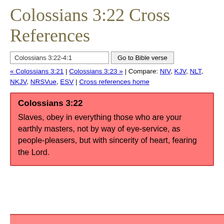Colossians 3:22 Cross References
Colossians 3:22-4:1 | Go to Bible verse
« Colossians 3:21 | Colossians 3:23 » | Compare: NIV, KJV, NLT, NKJV, NRSVue, ESV | Cross references home
Colossians 3:22
Slaves, obey in everything those who are your earthly masters, not by way of eye-service, as people-pleasers, but with sincerity of heart, fearing the Lord.